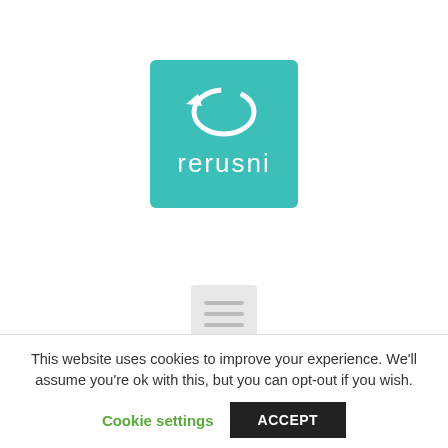[Figure (logo): Rerusni logo: teal/turquoise square with a white circular arrow icon and the word 'rerusni' in white lowercase text below it]
[Figure (other): Gray hamburger menu icon with three horizontal lines]
provide your personal data in a format that can be transmitted to another data controller;
The right to object. You can object to a data controller processing your data, typically where
This website uses cookies to improve your experience. We'll assume you're ok with this, but you can opt-out if you wish.
Cookie settings   ACCEPT